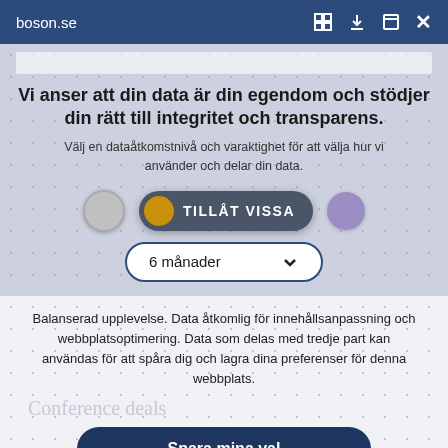boson.se
Vi anser att din data är din egendom och stödjer din rätt till integritet och transparens.
Välj en dataåtkomstnivå och varaktighet för att välja hur vi använder och delar din data.
[Figure (screenshot): Toggle button showing 'TILLÅT VISSA' (Allow Some) with gold dot on dark background, flanked by gray circle on left and purple circle on right]
[Figure (screenshot): Dropdown selector showing '6 månader' (6 months) with chevron arrow, pill-shaped with dark blue border]
Balanserad upplevelse. Data åtkomlig för innehållsanpassning och webbplatsoptimering. Data som delas med tredje part kan användas för att spåra dig och lagra dina preferenser för denna webbplats.
Conference deals
Spara mina val
Anpassa
Integritetspolicy